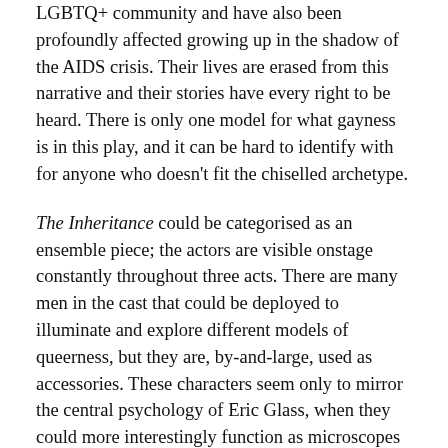LGBTQ+ community and have also been profoundly affected growing up in the shadow of the AIDS crisis. Their lives are erased from this narrative and their stories have every right to be heard. There is only one model for what gayness is in this play, and it can be hard to identify with for anyone who doesn't fit the chiselled archetype.
The Inheritance could be categorised as an ensemble piece; the actors are visible onstage constantly throughout three acts. There are many men in the cast that could be deployed to illuminate and explore different models of queerness, but they are, by-and-large, used as accessories. These characters seem only to mirror the central psychology of Eric Glass, when they could more interestingly function as microscopes to question and challenge his world view.
In act two, there are ten-or-so men at a table debating